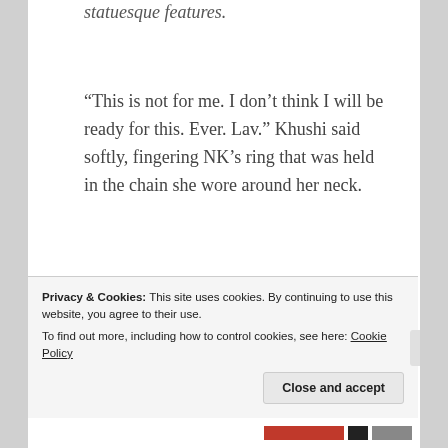statuesque features.
“This is not for me. I don’t think I will be ready for this. Ever. Lav.” Khushi said softly, fingering NK’s ring that was held in the chain she wore around her neck.
All laughter fled from Lavanya’s face. Sadness
Privacy & Cookies: This site uses cookies. By continuing to use this website, you agree to their use.
To find out more, including how to control cookies, see here: Cookie Policy